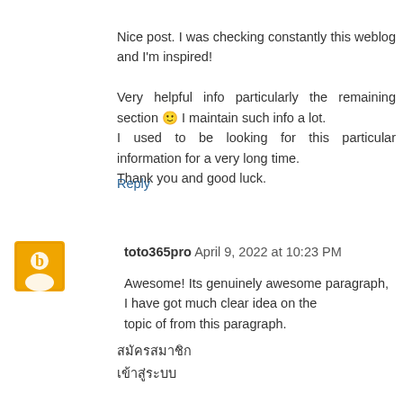Nice post. I was checking constantly this weblog and I'm inspired!

Very helpful info particularly the remaining section 🙂 I maintain such info a lot.
I used to be looking for this particular information for a very long time.
Thank you and good luck.
Reply
toto365pro  April 9, 2022 at 10:23 PM
Awesome! Its genuinely awesome paragraph, I have got much clear idea on the
topic of from this paragraph.
สมัครสมาชิก
เข้าสู่ระบบ